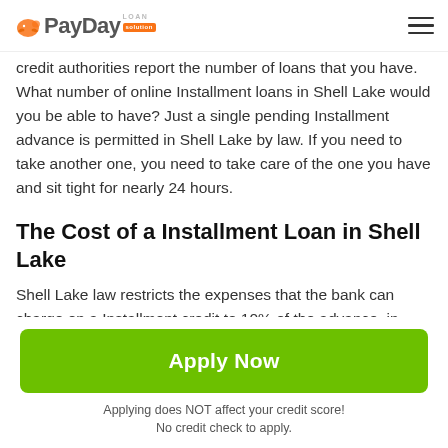PayDay Loan Solution
credit authorities report the number of loans that you have. What number of online Installment loans in Shell Lake would you be able to have? Just a single pending Installment advance is permitted in Shell Lake by law. If you need to take another one, you need to take care of the one you have and sit tight for nearly 24 hours.
The Cost of a Installment Loan in Shell Lake
Shell Lake law restricts the expenses that the bank can charge on a Installment credit to 10% of the advance amount in addition to a $5 confirmation expense. The Annual Percentage Rate ("APR") will shift depending upon the
Apply Now
Applying does NOT affect your credit score!
No credit check to apply.